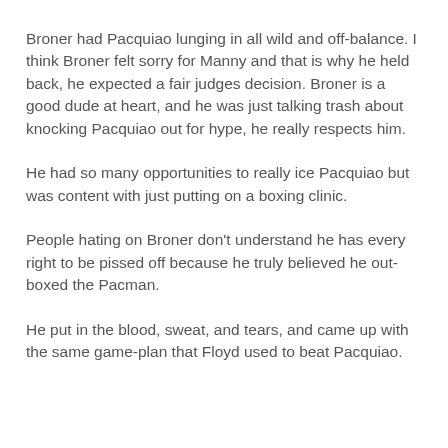Broner had Pacquiao lunging in all wild and off-balance. I think Broner felt sorry for Manny and that is why he held back, he expected a fair judges decision. Broner is a good dude at heart, and he was just talking trash about knocking Pacquiao out for hype, he really respects him.
He had so many opportunities to really ice Pacquiao but was content with just putting on a boxing clinic.
People hating on Broner don't understand he has every right to be pissed off because he truly believed he out-boxed the Pacman.
He put in the blood, sweat, and tears, and came up with the same game-plan that Floyd used to beat Pacquiao.